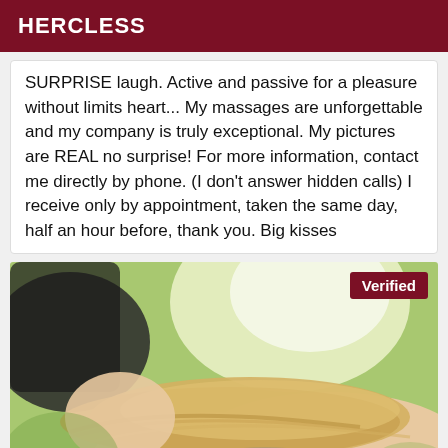HERCLESS
SURPRISE laugh. Active and passive for a pleasure without limits heart... My massages are unforgettable and my company is truly exceptional. My pictures are REAL no surprise! For more information, contact me directly by phone. (I don't answer hidden calls) I receive only by appointment, taken the same day, half an hour before, thank you. Big kisses
[Figure (photo): Close-up photo of a blonde woman lying down outdoors with a beaded bracelet visible, green blurred background. A 'Verified' badge appears in the top right corner.]